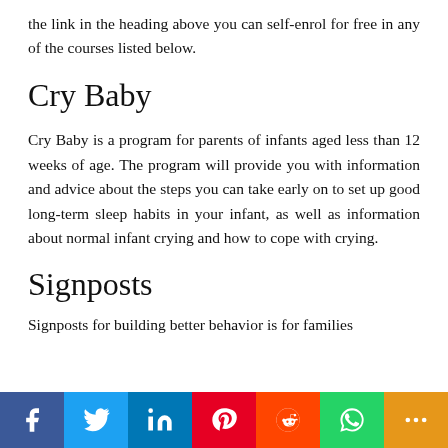the link in the heading above you can self-enrol for free in any of the courses listed below.
Cry Baby
Cry Baby is a program for parents of infants aged less than 12 weeks of age. The program will provide you with information and advice about the steps you can take early on to set up good long-term sleep habits in your infant, as well as information about normal infant crying and how to cope with crying.
Signposts
Signposts for building better behavior is for families